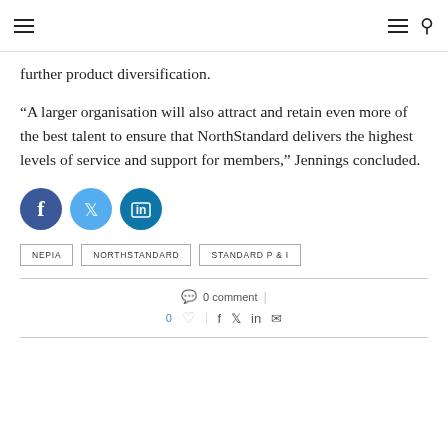Navigation header with hamburger menus and search icon
further product diversification.
“A larger organisation will also attract and retain even more of the best talent to ensure that NorthStandard delivers the highest levels of service and support for members,” Jennings concluded.
[Figure (other): Social media share buttons: Facebook (dark blue circle with f), Twitter (light blue circle with bird), LinkedIn (teal circle with in)]
NEPIA   NORTHSTANDARD   STANDARD P & I
0 comment | 0 likes | share icons (f, twitter, linkedin, email)